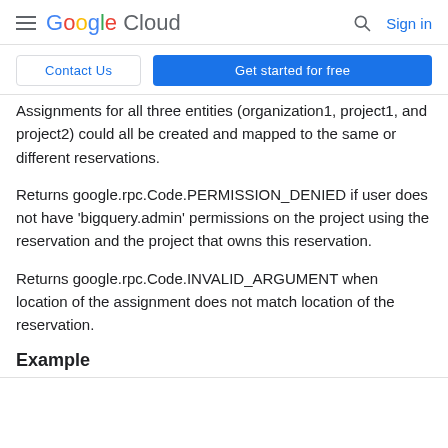Google Cloud  Sign in
Contact Us  Get started for free
Assignments for all three entities (organization1, project1, and project2) could all be created and mapped to the same or different reservations.
Returns google.rpc.Code.PERMISSION_DENIED if user does not have 'bigquery.admin' permissions on the project using the reservation and the project that owns this reservation.
Returns google.rpc.Code.INVALID_ARGUMENT when location of the assignment does not match location of the reservation.
Example